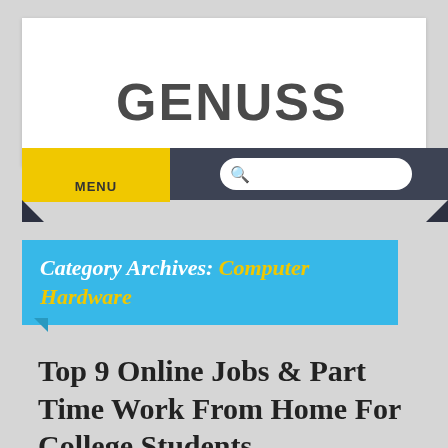GENUSS
MENU
Category Archives: Computer Hardware
Top 9 Online Jobs & Part Time Work From Home For College Students